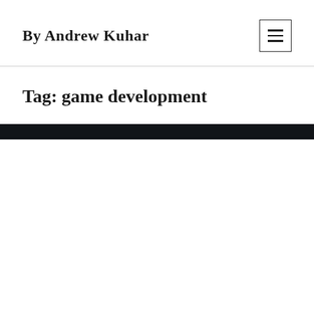By Andrew Kuhar
Tag: game development